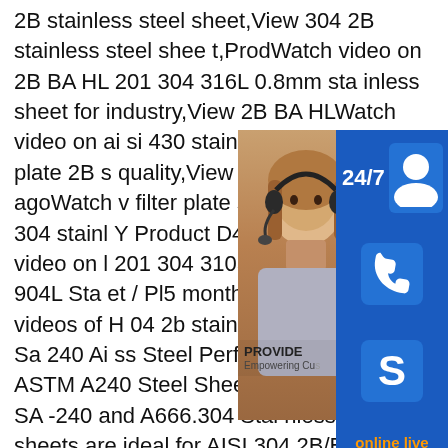2B stainless steel sheet,View 304 2B stainless steel sheet,ProdWatch video on 2B BA HL 201 304 316L 0.8mm stainless sheet for industry,View 2B BA HLWatch video on aisi 430 stainless steel strip and plate 2B s quality,View stainle6 months agoWatch v filter plate stainless steel,View 304 stainl Y Product D4 months agoWatch video on l 201 304 310S 316L 430 2205 904L Sta et / Pl5 months agoSee more videos of H 04 2b stainless steel platAsme Sa 240 Ai ss Steel Perforated Sheets ASTM A240 Steel Sheet Suppliers,ASME SA -240 and A666.304 Stainless Steel sheets are ideal for AISI 304 2B/BA stainless steel sheet .304 Stainless Steel Plate Supplier,Stainless Steel 304 .We are Supplier Exporter of 304 Cold rolled Stainless Steel Plate,for 304 are ASTM A-240,ASME SA -2
[Figure (infographic): Customer service widget overlay with a photo of a woman with headset/customer service representative, three blue square icon buttons (24/7 with person icon, phone icon, Skype icon), and an orange 'online live' text button at the bottom. Also shows 'PROVIDE Empowering Cu...' text over the photo.]